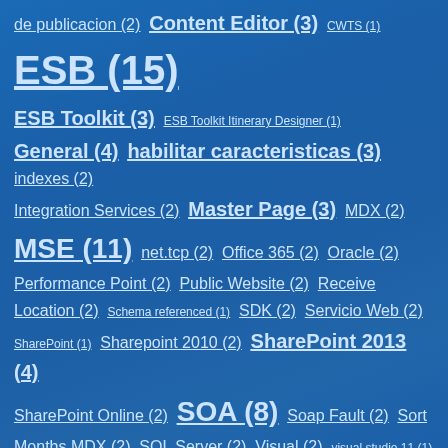de publicacion (2) Content Editor (3) CWTS (1) ESB (15) ESB Toolkit (3) ESB Toolkit Itinerary Designer (1) General (4) habilitar caracteristicas (3) indexes (2) Integration Services (2) Master Page (3) MDX (2) MSE (11) net.tcp (2) Office 365 (2) Oracle (2) Performance Point (2) Public Website (2) Receive Location (2) Schema referenced (1) SDK (2) Servicio Web (2) SharePoint (1) Sharepoint 2010 (2) SharePoint 2013 (4) SharePoint Online (2) SOA (8) Soap Fault (2) Sort Months MDX (2) SQL Server (2) Visual (2) visual studio 11 (1) Visual Studio 2010 (2) WCF (19) Windows (3) Windows 8 (17)